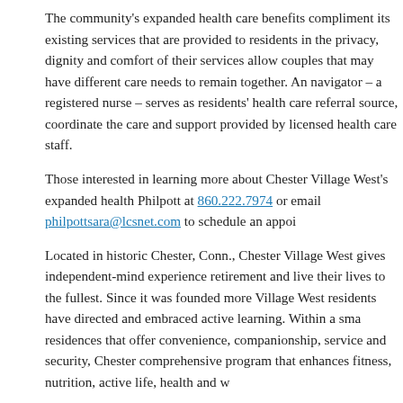The community's expanded health care benefits compliment its existing services that are provided to residents in the privacy, dignity and comfort of their services allow couples that may have different care needs to remain together. An navigator – a registered nurse – serves as residents' health care referral source, coordinate the care and support provided by licensed health care staff.
Those interested in learning more about Chester Village West's expanded health Philpott at 860.222.7974 or email philpottsara@lcsnet.com to schedule an appoi
Located in historic Chester, Conn., Chester Village West gives independent-mind experience retirement and live their lives to the fullest. Since it was founded more Village West residents have directed and embraced active learning. Within a sma residences that offer convenience, companionship, service and security, Chester comprehensive program that enhances fitness, nutrition, active life, health and w
Find out more at chestervillagewestlcs.com; visit the community on Facebook at erVillageWest.
Filed Under: Business, Community, News